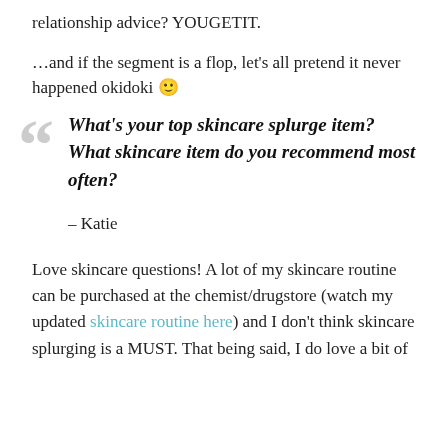relationship advice? YOUGETIT.
...and if the segment is a flop, let's all pretend it never happened okidoki 🙂
What's your top skincare splurge item? What skincare item do you recommend most often?
– Katie
Love skincare questions! A lot of my skincare routine can be purchased at the chemist/drugstore (watch my updated skincare routine here) and I don't think skincare splurging is a MUST. That being said, I do love a bit of